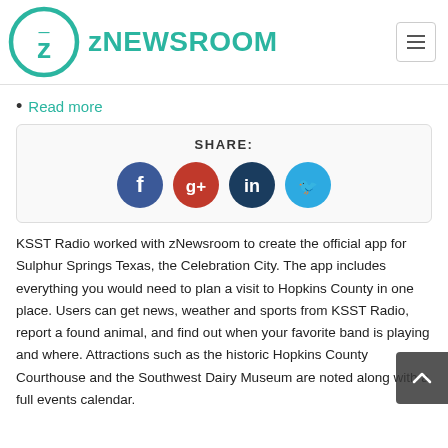zNEWSROOM
Read more
[Figure (infographic): Share box with SHARE: label and four social media icon buttons: Facebook (blue), Google+ (dark red), LinkedIn (dark blue), Twitter (light blue)]
KSST Radio worked with zNewsroom to create the official app for Sulphur Springs Texas, the Celebration City. The app includes everything you would need to plan a visit to Hopkins County in one place. Users can get news, weather and sports from KSST Radio, report a found animal, and find out when your favorite band is playing and where. Attractions such as the historic Hopkins County Courthouse and the Southwest Dairy Museum are noted along with a full events calendar.